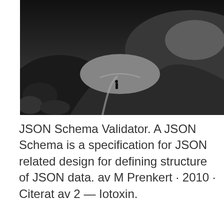[Figure (photo): Black and white landscape photo of mountain terrain with a winding path and a lone figure silhouetted against rocky hills]
JSON Schema Validator. A JSON Schema is a specification for JSON related design for defining structure of JSON data. av M Prenkert · 2010 · Citerat av 2 — Iotoxin.
[Figure (photo): Night sky photo showing the Milky Way galaxy with purple and blue tones against a dark starry background]